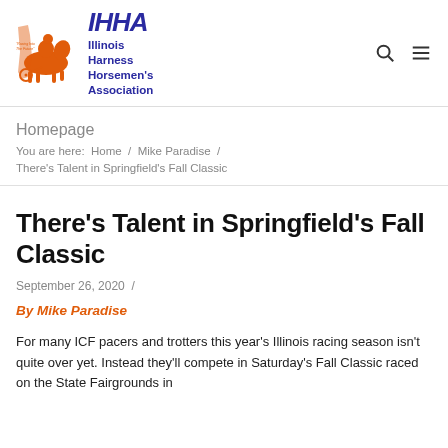[Figure (logo): IHHA Illinois Harness Horsemen's Association logo with orange horse and rider illustration and dark blue text]
Illinois Harness Horsemen's Association
Homepage
You are here: Home / Mike Paradise / There's Talent in Springfield's Fall Classic
There's Talent in Springfield's Fall Classic
September 26, 2020 /
By Mike Paradise
For many ICF pacers and trotters this year's Illinois racing season isn't quite over yet. Instead they'll compete in Saturday's Fall Classic raced on the State Fairgrounds in